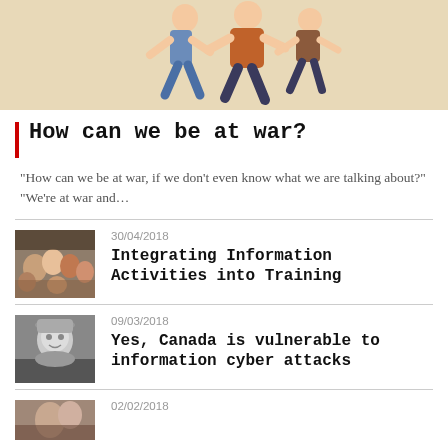[Figure (illustration): Vintage illustration of figures in a fighting or brawling scene, warm beige/tan background]
How can we be at war?
“How can we be at war, if we don’t even know what we are talking about?” “We’re at war and…
30/04/2018
[Figure (photo): Black and white or color crowd photo, people gathered]
Integrating Information Activities into Training
09/03/2018
[Figure (photo): Black and white portrait photo of a person]
Yes, Canada is vulnerable to information cyber attacks
02/02/2018